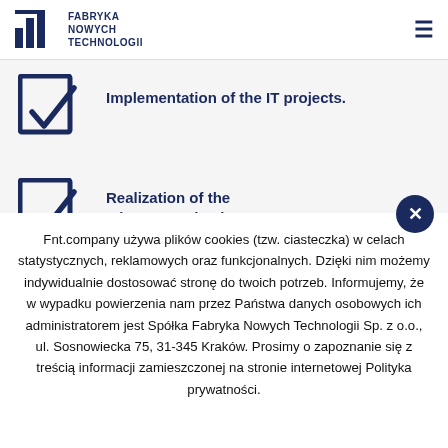FABRYKA NOWYCH TECHNOLOGII
Implementation of the IT projects.
Realization of the telecommunications structures
Fnt.company używa plików cookies (tzw. ciasteczka) w celach statystycznych, reklamowych oraz funkcjonalnych. Dzięki nim możemy indywidualnie dostosować stronę do twoich potrzeb. Informujemy, że w wypadku powierzenia nam przez Państwa danych osobowych ich administratorem jest Spółka Fabryka Nowych Technologii Sp. z o.o., ul. Sosnowiecka 75, 31-345 Kraków. Prosimy o zapoznanie się z treścią informacji zamieszczonej na stronie internetowej Polityka prywatności.